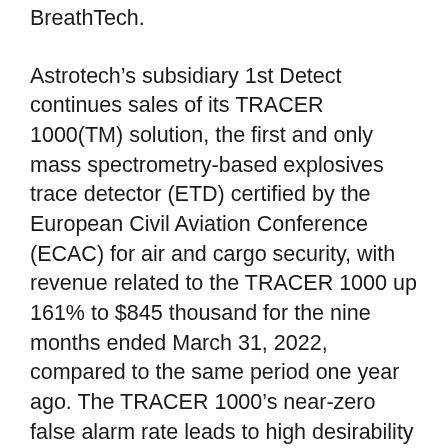BreathTech.
Astrotech's subsidiary 1st Detect continues sales of its TRACER 1000(TM) solution, the first and only mass spectrometry-based explosives trace detector (ETD) certified by the European Civil Aviation Conference (ECAC) for air and cargo security, with revenue related to the TRACER 1000 up 161% to $845 thousand for the nine months ended March 31, 2022, compared to the same period one year ago. The TRACER 1000's near-zero false alarm rate leads to high desirability in the cargo security market, as an alarm can cause costly shutdowns at cargo facilities while the potential threat is investigated. Interest also remains high in the airport checkpoint